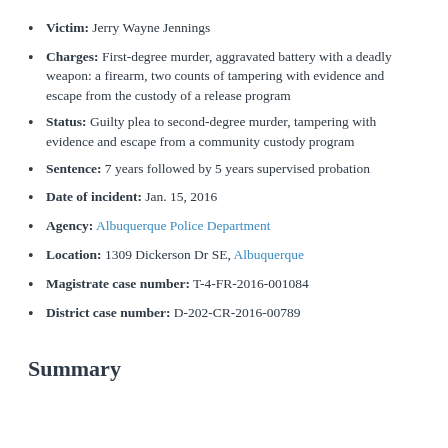Victim: Jerry Wayne Jennings
Charges: First-degree murder, aggravated battery with a deadly weapon: a firearm, two counts of tampering with evidence and escape from the custody of a release program
Status: Guilty plea to second-degree murder, tampering with evidence and escape from a community custody program
Sentence: 7 years followed by 5 years supervised probation
Date of incident: Jan. 15, 2016
Agency: Albuquerque Police Department
Location: 1309 Dickerson Dr SE, Albuquerque
Magistrate case number: T-4-FR-2016-001084
District case number: D-202-CR-2016-00789
Summary